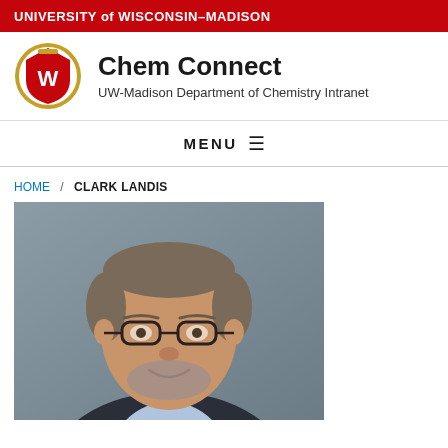UNIVERSITY of WISCONSIN–MADISON
Chem Connect
UW-Madison Department of Chemistry Intranet
MENU
HOME / CLARK LANDIS
[Figure (photo): Headshot photograph of Clark Landis, a middle-aged man with glasses, short grey-brown hair, a beard, wearing a dark jacket and light blue shirt, smiling, against a grey background.]